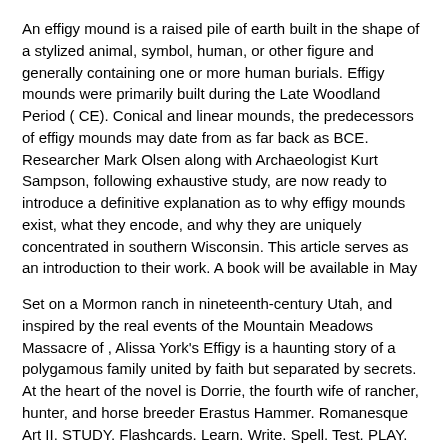An effigy mound is a raised pile of earth built in the shape of a stylized animal, symbol, human, or other figure and generally containing one or more human burials. Effigy mounds were primarily built during the Late Woodland Period ( CE). Conical and linear mounds, the predecessors of effigy mounds may date from as far back as BCE. Researcher Mark Olsen along with Archaeologist Kurt Sampson, following exhaustive study, are now ready to introduce a definitive explanation as to why effigy mounds exist, what they encode, and why they are uniquely concentrated in southern Wisconsin. This article serves as an introduction to their work. A book will be available in May
Set on a Mormon ranch in nineteenth-century Utah, and inspired by the real events of the Mountain Meadows Massacre of , Alissa York's Effigy is a haunting story of a polygamous family united by faith but separated by secrets. At the heart of the novel is Dorrie, the fourth wife of rancher, hunter, and horse breeder Erastus Hammer. Romanesque Art II. STUDY. Flashcards. Learn. Write. Spell. Test. PLAY. Match. Gravity. Created by. Nate_Stephens1. Terms in this set (9) What material was used for Nun Guda's Book of Homilies? a. ink on vellum b. ink on parchment c. paint on parchment d. paint on vellum. B. What is an effigy? a. a sculpture blessed by saints b. a sculptural.
The Iron Ring has come to conquer, with cannon and magic and a disciplined army of thousands. The Red Hats have been hired to stop them, with even stranger sorcery and an unorthodox, semi-disciplined force of dozens. On a good day. Misfit mercenaries must face iron war machines in this action-packed black powder fantasy from internationally bestselling .    Buy a cheap copy of Effigy book by Alissa